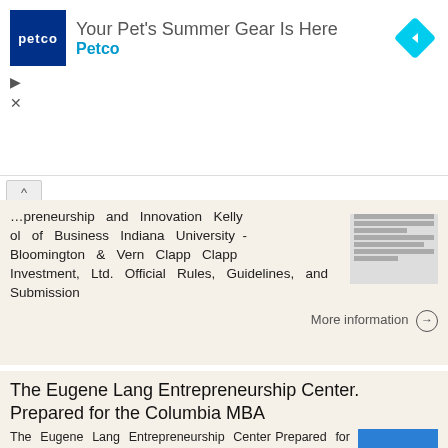[Figure (screenshot): Petco advertisement banner: 'Your Pet's Summer Gear Is Here' with Petco logo and navigation icons]
...preneurship and Innovation Kelly... ol of Business Indiana University - Bloomington & Vern Clapp Clapp Investment, Ltd. Official Rules, Guidelines, and Submission
More information →
The Eugene Lang Entrepreneurship Center. Prepared for the Columbia MBA
The Eugene Lang Entrepreneurship Center Prepared for the Columbia MBA February, 2009 How Do We Help You Launch Your Business? Foundation, Master and Electives Courses The Lang Fund Other Events, Services